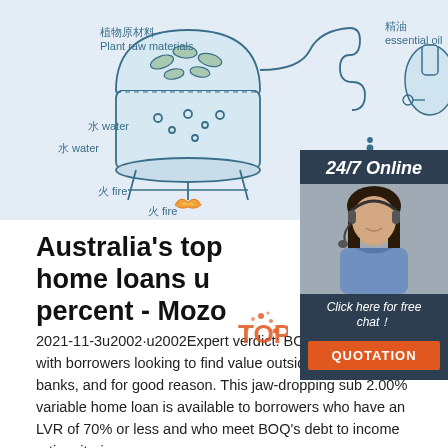[Figure (illustration): Line art illustration showing Chinese/English labeled equipment for plant essential oil distillation: plant raw materials (植物原材料), water (水 water), fire (火 fire), hydrosol (纯露 Hydrosol), essential oil (精油 essential oil) with distillation glassware.]
[Figure (infographic): 24/7 Online chat widget with photo of female customer service agent wearing headset and blue shirt, with 'Click here for free chat!' text and orange QUOTATION button.]
Australia's top home loans u percent - Mozo
2021-11-3u2002·u2002Expert verdict: BOQ is a favourite with borrowers looking to find value outside of the big four banks, and for good reason. This jaw-dropping sub 2.00% variable home loan is available to borrowers who have an LVR of 70% or less and who meet BOQ's debt to income ratio criteria.